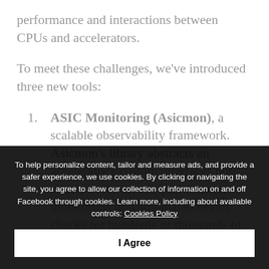performance and interactions between CPUs and accelerators.
To meet these challenges, we've introduced three new tools:
ASIC Monitoring (Asicmon), a scalable observability framework. Asicmon's library abstracts an accelerator's custom interfaces but allows every metric, performance monitoring, and automated health checks for hundreds of thousands of accelerators.
To help personalize content, tailor and measure ads, and provide a safer experience, we use cookies. By clicking or navigating the site, you agree to allow our collection of information on and off Facebook through cookies. Learn more, including about available controls: Cookies Policy